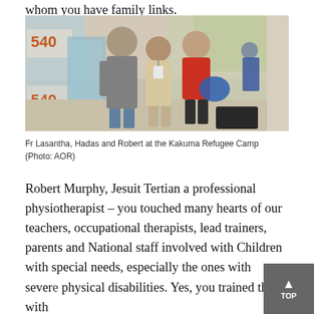whom you have family links.
[Figure (photo): Three people standing together at what appears to be the Kakuma Refugee Camp — a tall man on the left in grey clothing, a shorter man in the centre wearing a badge/lanyard, and a woman on the right in a red top with a blue bag.]
Fr Lasantha, Hadas and Robert at the Kakuma Refugee Camp (Photo: AOR)
Robert Murphy, Jesuit Tertian a professional physiotherapist – you touched many hearts of our teachers, occupational therapists, lead trainers, parents and National staff involved with Children with special needs, especially the ones with severe physical disabilities. Yes, you trained them with skills and…